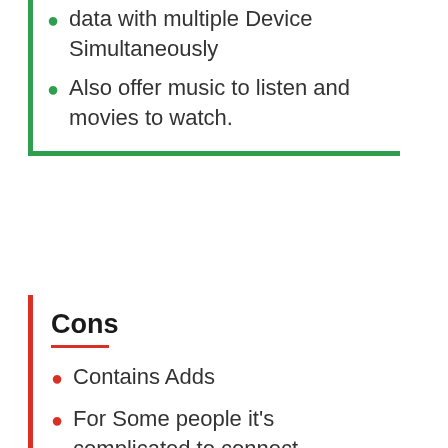data with multiple Device Simultaneously
Also offer music to listen and movies to watch.
Cons
Contains Adds
For Some people it's complicated to connect Devices.
How to Download SHAREit?
Follow these Simple Steps to Download Shareit Latest Version.